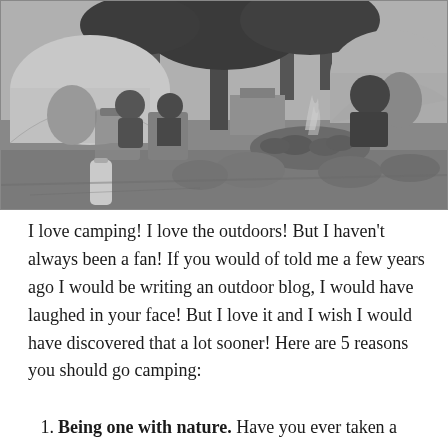[Figure (photo): Black and white photograph of a campsite with people sitting in folding chairs around a campfire ringed by rocks, tents visible in the background among trees, a water bottle in the foreground]
I love camping! I love the outdoors! But I haven't always been a fan! If you would of told me a few years ago I would be writing an outdoor blog, I would have laughed in your face! But I love it and I wish I would have discovered that a lot sooner! Here are 5 reasons you should go camping:
Being one with nature. Have you ever taken a hike...